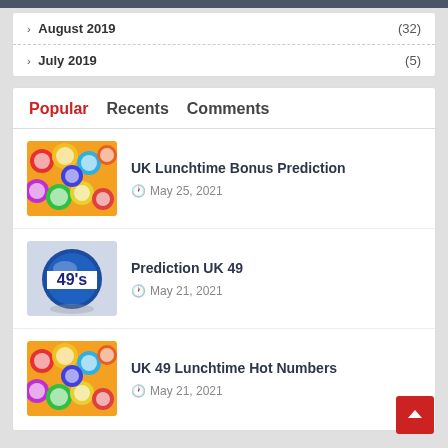August 2019 (32)
July 2019 (5)
Popular   Recents   Comments
[Figure (photo): Colorful lottery balls image]
UK Lunchtime Bonus Prediction
May 25, 2021
[Figure (photo): Blue lottery ball with 49s text]
Prediction UK 49
May 21, 2021
[Figure (photo): Colorful lottery balls image]
UK 49 Lunchtime Hot Numbers
May 21, 2021